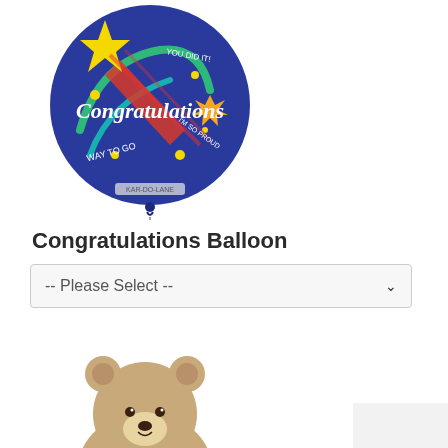[Figure (photo): A round Congratulations foil balloon with dark blue background, colorful stars, swirls, and text reading 'Congratulations' in white script. Text also includes 'WAY TO GO', 'YOU DID IT', 'I'M SO PROUD'.]
Congratulations Balloon
-- Please Select --
[Figure (photo): A light tan/beige plush teddy bear with a plaid bow tie, sitting upright on a white background.]
18" Lotso Love® Bear